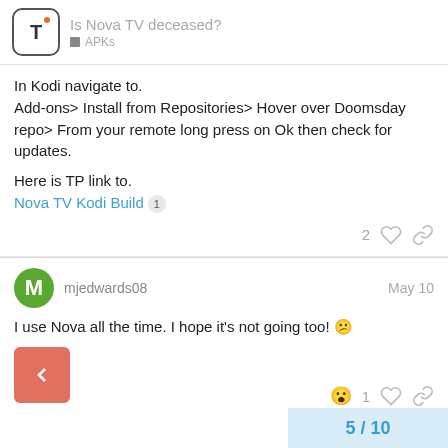Is Nova TV deceased? APKs
In Kodi navigate to.
Add-ons> Install from Repositories> Hover over Doomsday repo> From your remote long press on Ok then check for updates.

Here is TP link to.
Nova TV Kodi Build 1
mjedwards08  May 10
I use Nova all the time. I hope it's not going too! 😕